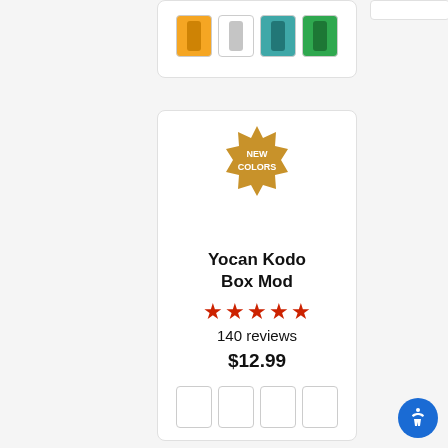[Figure (screenshot): Top product card with four color swatches: yellow, white, teal, and green]
[Figure (screenshot): Right side white box placeholder]
[Figure (screenshot): Product card for Yocan Kodo Box Mod with NEW COLORS badge, 5 red stars, 140 reviews, $12.99 price, and four empty color swatches at bottom]
[Figure (screenshot): Blue circular accessibility button with person icon in bottom right corner]